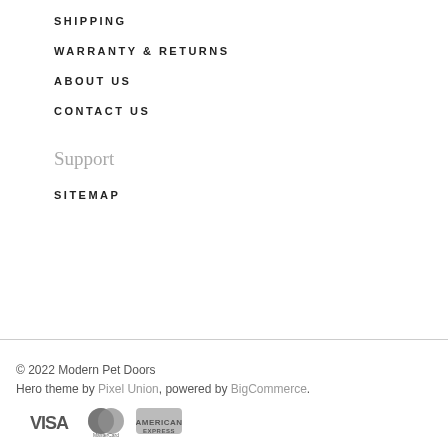SHIPPING
WARRANTY & RETURNS
ABOUT US
CONTACT US
Support
SITEMAP
© 2022 Modern Pet Doors
Hero theme by Pixel Union, powered by BigCommerce.